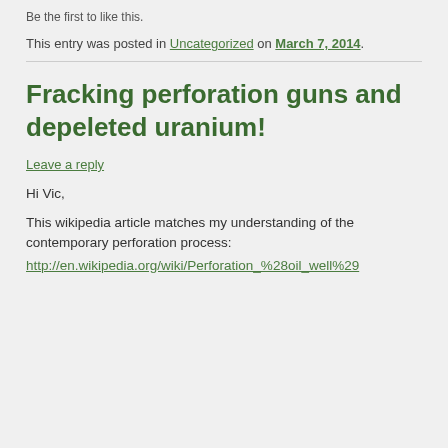Be the first to like this.
This entry was posted in Uncategorized on March 7, 2014.
Fracking perforation guns and depeleted uranium!
Leave a reply
Hi Vic,
This wikipedia article matches my understanding of the contemporary perforation process:
http://en.wikipedia.org/wiki/Perforation_%28oil_well%29